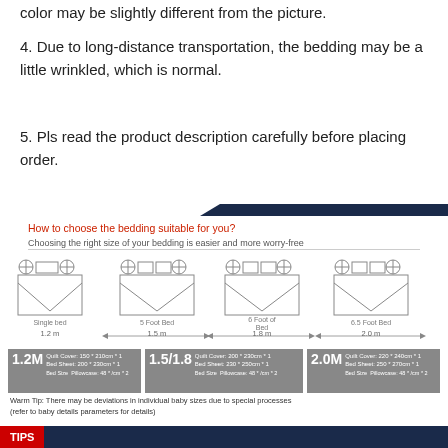color may be slightly different from the picture.
4. Due to long-distance transportation, the bedding may be a little wrinkled, which is normal.
5. Pls read the product description carefully before placing order.
How to choose the bedding suitable for you?
Choosing the right size of your bedding is easier and more worry-free
[Figure (infographic): Four bed size diagrams: Single bed 1.2m, 5 Foot Bed 1.5m, 6 Foot of Bed 1.8m, 6.5 Foot Bed 2.0m]
1.2M Bed Size: Quilt Cover: 150*210cm*1, Bed Sheet: 200*230cm*1, Pillowcase: 48*/cm*2 | 1.5/1.8 Bed Size: Quilt Cover: 200*230cm*1, Bed Sheet: 230*250cm*1, Pillowcase: 48*/cm*2 | 2.0M Bed Size: Quilt Cover: 220*240cm*1, Bed Sheet: 250*270cm*1, Pillowcase: 48*/cm*2
Warm Tip: There may be deviations in individual baby sizes due to special processes (refer to baby details parameters for details)
TIPS